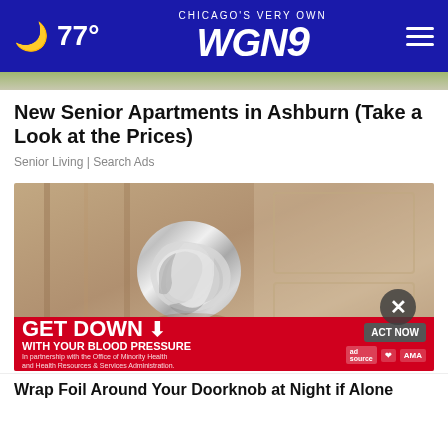77° CHICAGO'S VERY OWN WGN9
New Senior Apartments in Ashburn (Take a Look at the Prices)
Senior Living | Search Ads
[Figure (photo): Close-up photo of a door knob covered in aluminum/tin foil, set against a beige/tan wooden door background.]
[Figure (infographic): Red advertisement banner reading 'GET DOWN WITH YOUR BLOOD PRESSURE' with 'ACT NOW' button and logos for ad source, American Heart Association, and AMA.]
Wrap Foil Around Your Doorknob at Night if Alone